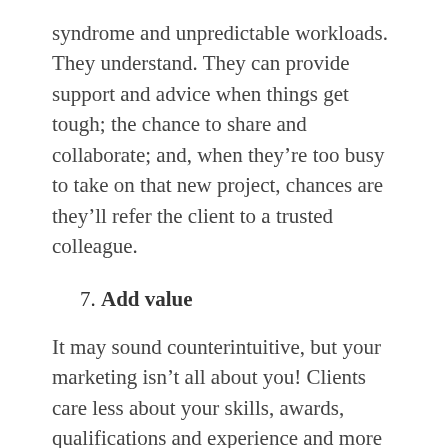syndrome and unpredictable workloads. They understand. They can provide support and advice when things get tough; the chance to share and collaborate; and, when they’re too busy to take on that new project, chances are they’ll refer the client to a trusted colleague.
7. Add value
It may sound counterintuitive, but your marketing isn’t all about you! Clients care less about your skills, awards, qualifications and experience and more about how you can make their lives easier.
Focus on answering the question, “What’s in it for me?”.